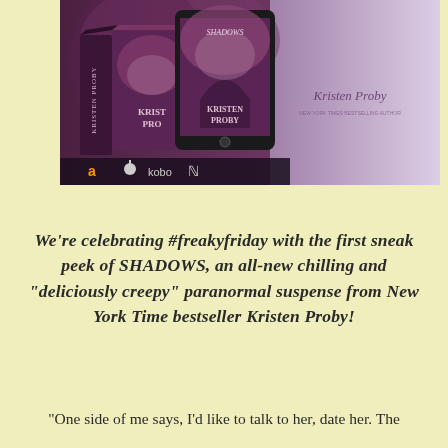[Figure (illustration): Book promotional image showing a physical book box set and an e-reader/tablet displaying the cover of 'Shadows' by Kristen Proby. The cover has dark purple/maroon tones with misty trees. Bottom shows retailer logos: Amazon, Apple, Kobo, Nook. Right side shows Kristen Proby's signature logo on a light purple background.]
We're celebrating #freakyfriday with the first sneak peek of SHADOWS, an all-new chilling and "deliciously creepy" paranormal suspense from New York Time bestseller Kristen Proby!
“One side of me says, I’d like to talk to her, date her. The